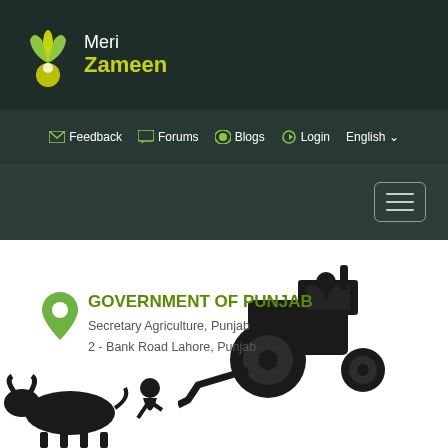[Figure (logo): Meri Zameen logo with green plant/leaf icon and text 'Meri Zameen' in white and yellow-green]
Feedback | Forums | Blogs | Login | English
[Figure (screenshot): Hamburger menu button (three horizontal lines) in a rounded rectangle border]
[Figure (illustration): Black silhouette of tractor on right side and farmer plowing field on left side, white background]
[Figure (illustration): Green location pin icon]
GOVERNMENT OF PUNJAB
Secretary Agriculture, Punjab
2 - Bank Road Lahore, Punjab
[Figure (logo): Meri Zameen footer logo with plant icon and text 'Meri Zameen']
© 2020 | copyright
[Figure (illustration): Social media icons: Facebook, Twitter, YouTube, Image/Gallery]